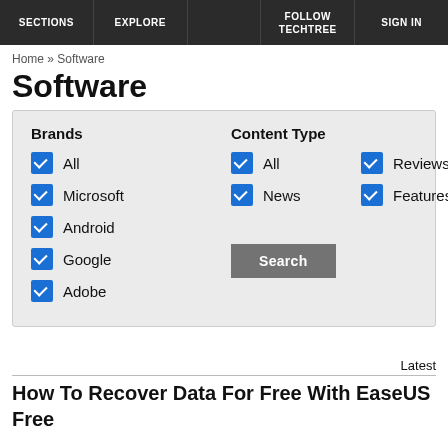SECTIONS | EXPLORE | FOLLOW TECHTREE | SIGN IN
Home » Software
Software
[Figure (screenshot): Filter panel with Brands checkboxes (All, Microsoft, Android, Google, Adobe) and Content Type checkboxes (All, Reviews, News, Features), plus a Search button]
Latest
How To Recover Data For Free With EaseUS Free